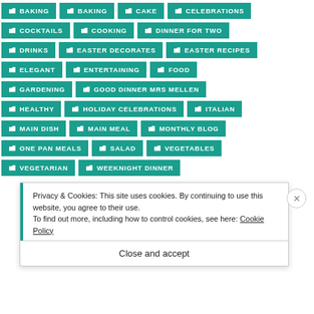BAKING
BAKING
CAKE
CELEBRATIONS
COCKTAILS
COOKING
DINNER FOR TWO
DRINKS
EASTER DECORATES
EASTER RECIPES
ELEGANT
ENTERTAINING
FOOD
GARDENING
GOOD DINNER MRS MELLEN
HEALTHY
HOLIDAY CELEBRATIONS
ITALIAN
MAIN DISH
MAIN MEAL
MONTHLY BLOG
ONE PAN MEALS
SALAD
VEGETABLES
VEGETARIAN
WEEKNIGHT DINNER
Privacy & Cookies: This site uses cookies. By continuing to use this website, you agree to their use.
To find out more, including how to control cookies, see here: Cookie Policy
Close and accept